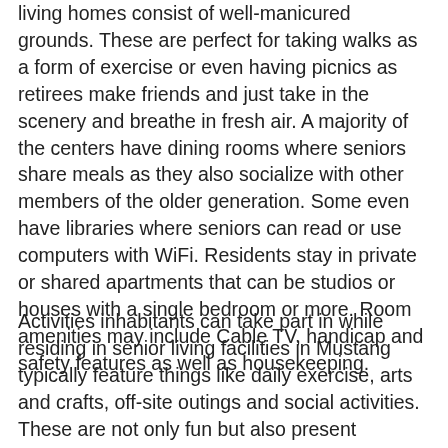living homes consist of well-manicured grounds. These are perfect for taking walks as a form of exercise or even having picnics as retirees make friends and just take in the scenery and breathe in fresh air. A majority of the centers have dining rooms where seniors share meals as they also socialize with other members of the older generation. Some even have libraries where seniors can read or use computers with WiFi. Residents stay in private or shared apartments that can be studios or houses with a single bedroom or more. Room amenities may include Cable TV, handicap and safety features as well as housekeeping.
Activities inhabitants can take part in while residing in senior living facilities in Mustang typically feature things like daily exercise, arts and crafts, off-site outings and social activities. These are not only fun but also present educational opportunities so that retired adults can grow even while aging. Retirees can opt to stay in